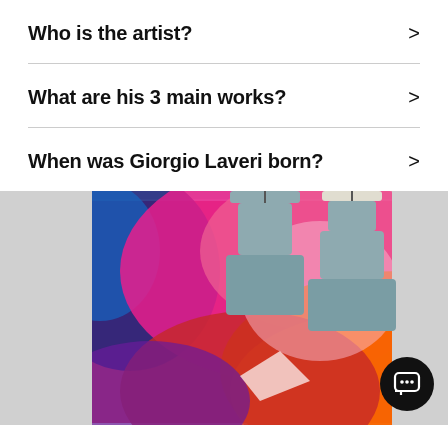Who is the artist?
What are his 3 main works?
When was Giorgio Laveri born?
[Figure (photo): Abstract colorful painting with vibrant pink, red, orange and blue brushstrokes displayed on a wall, with two stacked cylindrical pendant lamps in gray hanging in front of it.]